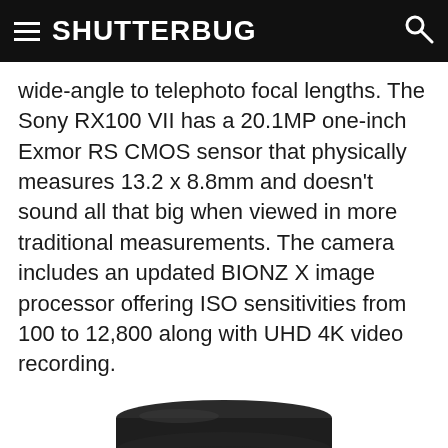SHUTTERBUG
wide-angle to telephoto focal lengths. The Sony RX100 VII has a 20.1MP one-inch Exmor RS CMOS sensor that physically measures 13.2 x 8.8mm and doesn't sound all that big when viewed in more traditional measurements. The camera includes an updated BIONZ X image processor offering ISO sensitivities from 100 to 12,800 along with UHD 4K video recording.
[Figure (photo): Close-up photo of a black camera lens or lens element, viewed from the front, showing a cylindrical barrel with a stepped top ring, on a white background. The bottom of the lens is partially cropped.]